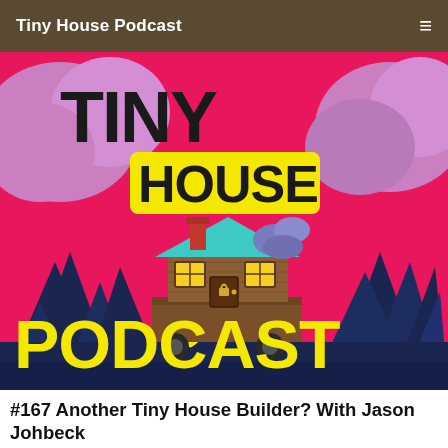Tiny House Podcast
[Figure (illustration): Colorful illustrated logo for Tiny House Podcast: text 'TINY HOUSE PODCAST' with a cartoon tiny house on wheels surrounded by pine trees against a pink/purple sky background.]
#167 Another Tiny House Builder? With Jason Johbeck